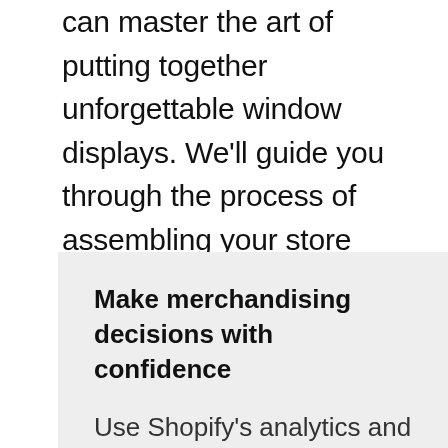can master the art of putting together unforgettable window displays. We'll guide you through the process of assembling your store window display, as well as offer some window display ideas to get you started.
Make merchandising decisions with confidence
Use Shopify's analytics and reporting to make the right merchandising decisions at each of your store locations. Spot seasonal trends, see